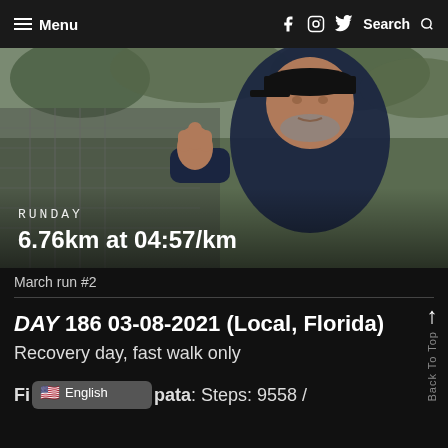≡ Menu   f  Instagram  Twitter  Search
[Figure (photo): Man in dark baseball cap and navy blue shirt giving a thumbs-up gesture in front of greenery and a chain-link fence. Overlaid text: RUNDAY / 6.76km at 04:57/km]
March run #2
DAY 186 03-08-2021 (Local, Florida)
Recovery day, fast walk only
Fitness Data: Steps: 9558 /